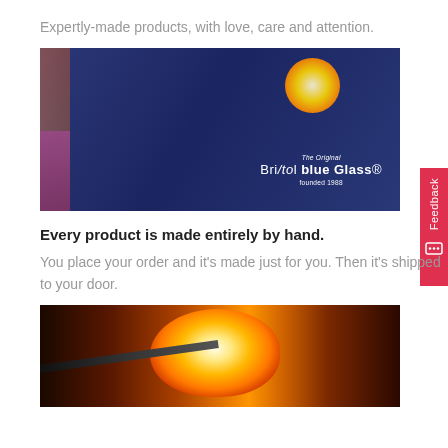Expertly-made products, with love, care and attention.
[Figure (photo): A glassblower wearing a dark blue t-shirt with 'The Original Bristol blue Glass founded 1988' text on the back, working in a glassblowing studio with another person and equipment visible in the background.]
Every product is made entirely by hand.
You place your order and it's made just for you. Then it's shipped to your door.
[Figure (photo): A glassblower shaping a glowing orange-yellow molten glass blob on a blowpipe, with a brick wall visible in the background.]